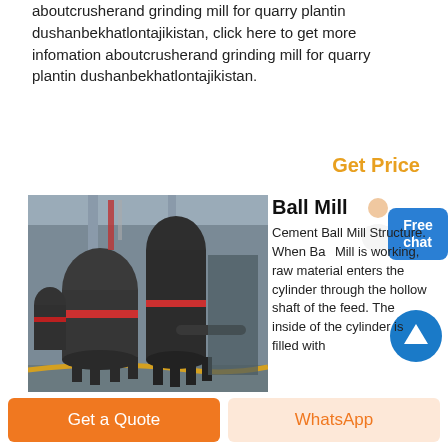aboutcrusherand grinding mill for quarry plantin dushanbekhatlontajikistan, click here to get more infomation aboutcrusherand grinding mill for quarry plantin dushanbekhatlontajikistan.
Get Price
[Figure (photo): Industrial ball mill machines in a factory setting, large cylindrical grinding equipment on a factory floor]
Ball Mill
Cement Ball Mill Structure. When Ball Mill is working, raw material enters the cylinder through the hollow shaft of the feed. The inside of the cylinder is filled with grinding media of various diameters (steel balls, steel segments, etc.); when the cylinder rotates around the
Get a Quote
WhatsApp